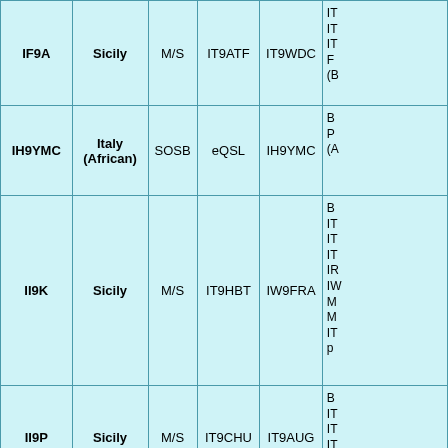| Callsign | Location | Category | Operator1 | Operator2 | Details |
| --- | --- | --- | --- | --- | --- |
| IF9A | Sicily | M/S | IT9ATF | IT9WDC | IT...
IT...
IT...
F...
(B... |
| IH9YMC | Italy (African) | SOSB | eQSL | IH9YMC | B...
P...
(A... |
| II9K | Sicily | M/S | IT9HBT | IW9FRA | B...
IT...
IT...
IT...
IR...
IW...
M...
M...
IT...
p... |
| II9P | Sicily | M/S | IT9CHU | IT9AUG | B...
IT...
IT...
IT...
IT... |